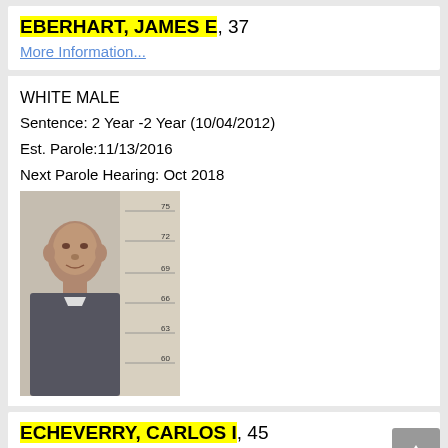EBERHART, JAMES E, 37
More Information...
WHITE MALE
Sentence: 2 Year -2 Year (10/04/2012)
Est. Parole:11/13/2016
Next Parole Hearing: Oct 2018
[Figure (photo): Mugshot of James E Eberhart with height ruler markings at 60, 63, 66, 69, 72, 75]
ECHEVERRY, CARLOS I, 45
More Information...
HISPANIC MALE